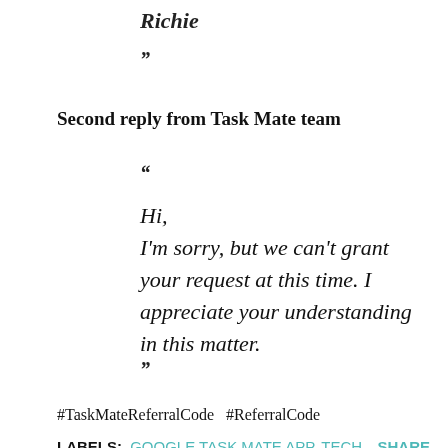Richie
”
Second reply from Task Mate team
“
Hi,
I'm sorry, but we can't grant your request at this time. I appreciate your understanding in this matter.
”
#TaskMateReferralCode   #ReferralCode
LABELS: GOOGLE TASK MATE APP, TECH   SHARE
Comments